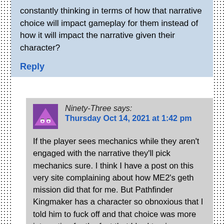constantly thinking in terms of how that narrative choice will impact gameplay for them instead of how it will impact the narrative given their character?
Reply
Ninety-Three says: Thursday Oct 14, 2021 at 1:42 pm
If the player sees mechanics while they aren't engaged with the narrative they'll pick mechanics sure. I think I have a post on this very site complaining about how ME2's geth mission did that for me. But Pathfinder Kingmaker has a character so obnoxious that I told him to fuck off and that choice was more interesting for the fact that I had to give up a huge quest reward to do it. I like that and I am satisfied with getting rid of the obnoxious side